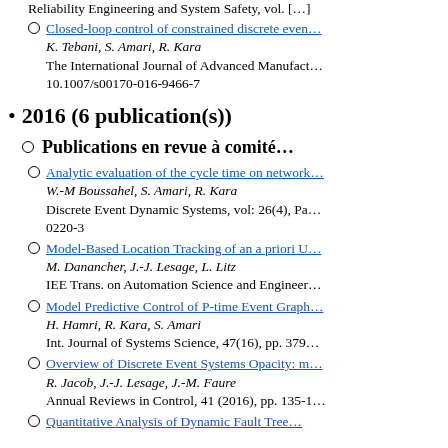Reliability Engineering and System Safety, vol. [truncated]
Closed-loop control of constrained discrete event... K. Tebani, S. Amari, R. Kara. The International Journal of Advanced Manufacturing..., 10.1007/s00170-016-9466-7
2016 (6 publication(s))
Publications en revue à comité [truncated]
Analytic evaluation of the cycle time on network... W.-M Boussahel, S. Amari, R. Kara. Discrete Event Dynamic Systems, vol: 26(4), Pa... 0220-3
Model-Based Location Tracking of an a priori U... M. Danancher, J.-J. Lesage, L. Litz. IEE Trans. on Automation Science and Engineer...
Model Predictive Control of P-time Event Graph... H. Hamri, R. Kara, S. Amari. Int. Journal of Systems Science, 47(16), pp. 3792...
Overview of Discrete Event Systems Opacity: m... R. Jacob, J.-J. Lesage, J.-M. Faure. Annual Reviews in Control, 41 (2016), pp. 135-1...
Quantitative Analysis of Dynamic Fault Tree... [truncated]